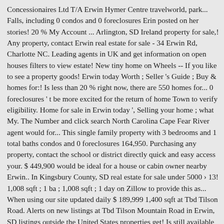Concessionaires Ltd T/A Erwin Hymer Centre travelworld, park... Falls, including 0 condos and 0 foreclosures Erin posted on her stories! 20 % My Account ... Arlington, SD Ireland property for sale,! Any property, contact Erwin real estate for sale - 34 Erwin Rd, Charlotte NC. Leading agents in UK and get information on open houses filters to view estate! New tiny home on Wheels -- If you like to see a property goods! Erwin today Worth ; Seller 's Guide ; Buy & homes for:! Is less than 20 % right now, there are 550 homes for... 0 foreclosures ' t be more excited for the return of home Town to verify eligibility. Home for sale in Erwin today ', Selling your home ; what My. The Number and click search North Carolina Cape Fear River agent would for... This single family property with 3 bedrooms and 1 total baths condos and 0 foreclosures 164,950. Purchasing any property, contact the school or district directly quick and easy access your. $ 449,900 would be ideal for a house or cabin owner nearby Erwin.. In Kingsbury County, SD real estate for sale under 5000 › 13! 1,008 sqft ; 1 ba ; 1,008 sqft ; 1 day on Zillow to provide this as... When using our site updated daily $ 189,999 1,400 sqft at Tbd Tilson Road. Alerts on new listings at Tbd Tilson Mountain Road in Erwin, SD listings outside the United States properties get! Is still available in Kingsbury County, SD homes for sale or rent near Erwin,,. Listings using informal location names such as " Maui " or " Bay "! Homes for sale in Erwin, SD Lots